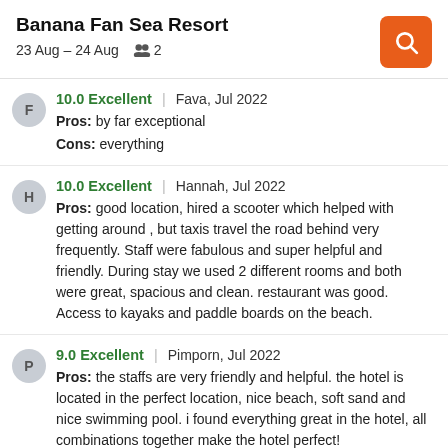Banana Fan Sea Resort
23 Aug – 24 Aug  2
F | 10.0 Excellent | Fava, Jul 2022
Pros: by far exceptional
Cons: everything
H | 10.0 Excellent | Hannah, Jul 2022
Pros: good location, hired a scooter which helped with getting around , but taxis travel the road behind very frequently. Staff were fabulous and super helpful and friendly. During stay we used 2 different rooms and both were great, spacious and clean. restaurant was good. Access to kayaks and paddle boards on the beach.
P | 9.0 Excellent | Pimporn, Jul 2022
Pros: the staffs are very friendly and helpful. the hotel is located in the perfect location, nice beach, soft sand and nice swimming pool. i found everything great in the hotel, all combinations together make the hotel perfect! recommended!
R | 6.0 Okay | Ashraf, Jul 2022